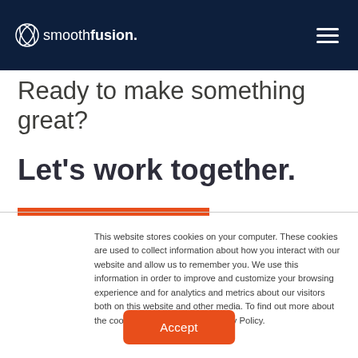smoothfusion.
Ready to make something great?
Let's work together.
This website stores cookies on your computer. These cookies are used to collect information about how you interact with our website and allow us to remember you. We use this information in order to improve and customize your browsing experience and for analytics and metrics about our visitors both on this website and other media. To find out more about the cookies we use, see our Privacy Policy.
Accept